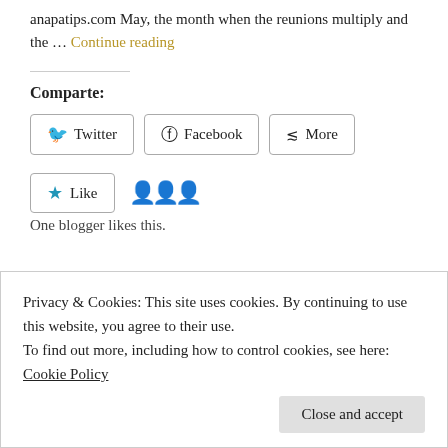anapatips.com May, the month when the reunions multiply and the … Continue reading
Comparte:
Twitter | Facebook | More
Like | One blogger likes this.
Privacy & Cookies: This site uses cookies. By continuing to use this website, you agree to their use. To find out more, including how to control cookies, see here: Cookie Policy
Close and accept
Is this month's Intrend Magazine article. I talk